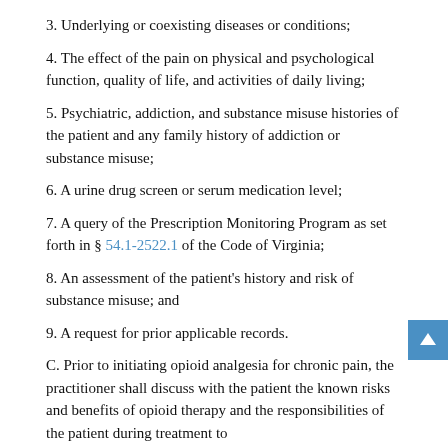3. Underlying or coexisting diseases or conditions;
4. The effect of the pain on physical and psychological function, quality of life, and activities of daily living;
5. Psychiatric, addiction, and substance misuse histories of the patient and any family history of addiction or substance misuse;
6. A urine drug screen or serum medication level;
7. A query of the Prescription Monitoring Program as set forth in § 54.1-2522.1 of the Code of Virginia;
8. An assessment of the patient's history and risk of substance misuse; and
9. A request for prior applicable records.
C. Prior to initiating opioid analgesia for chronic pain, the practitioner shall discuss with the patient the known risks and benefits of opioid therapy and the responsibilities of the patient during treatment to